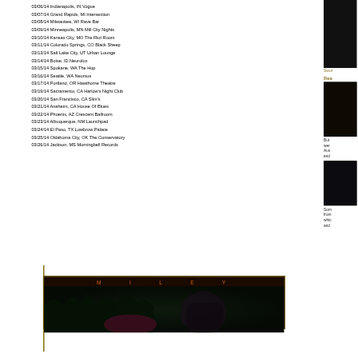03/06/14 Indianapolis, IN Vogue
03/07/14 Grand Rapids, MI Intersection
03/08/14 Milwaukee, WI Rave Bar
03/09/14 Minneapolis, MN Mill City Nights
03/10/14 Kansas City, MO The Riot Room
03/11/14 Colorado Springs, CO Black Sheep
03/13/14 Salt Lake City, UT Urban Lounge
03/14/14 Boise, ID Neurolux
03/15/14 Spokane, WA The Hop
03/16/14 Seattle, WA Neumos
03/17/14 Portland, OR Hawthorne Theatre
03/19/14 Sacramento, CA Harlow's Night Club
03/20/14 San Francisco, CA Slim's
03/21/14 Anaheim, CA House Of Blues
03/22/14 Phoenix, AZ Crescent Ballroom
03/23/14 Albuquerque, NM Launchpad
03/24/14 El Paso, TX Lowbrow Palace
03/25/14 Oklahoma City, OK The Conservatory
03/26/14 Jackson, MS Morningbell Records
Swor
Rea
But were Aus end
Som from whic and
[Figure (photo): Miley Cyrus promotional image with orange MILEY text header on dark background]